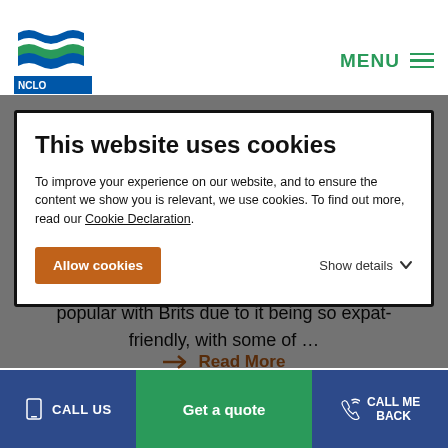NCLO logo | MENU
This website uses cookies
To improve your experience on our website, and to ensure the content we show you is relevant, we use cookies. To find out more, read our Cookie Declaration.
Allow cookies | Show details
popular with Brits due to it being so expat-friendly, with some of …
→ Read More
CALL US | Get a quote | CALL ME BACK